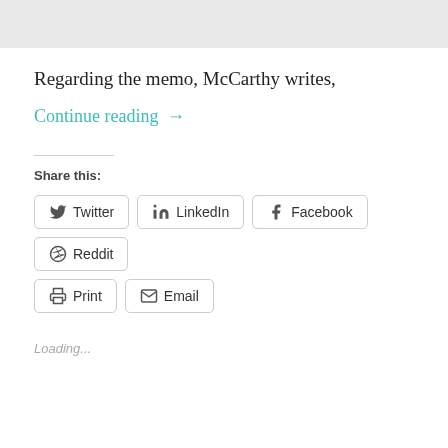[Figure (other): Gray rectangle placeholder image at top of page]
Regarding the memo, McCarthy writes,
Continue reading →
Share this:
Twitter  LinkedIn  Facebook  Reddit
Print  Email
Loading...